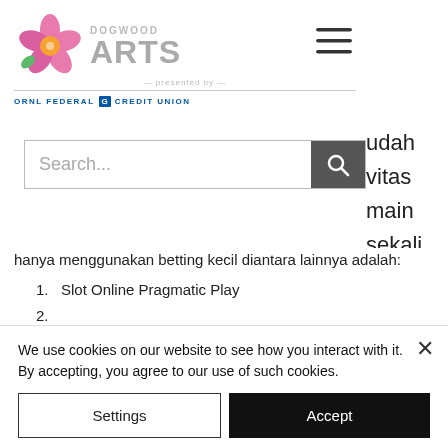[Figure (logo): Dogwood Arts logo with flower and text, presented by ORNL Federal Credit Union]
[Figure (other): Hamburger menu icon (three horizontal lines)]
[Figure (other): Search bar with magnifying glass button]
udah vitas main sekali g gan
hanya menggunakan betting kecil diantara lainnya adalah:
1.  Slot Online Pragmatic Play
2.
2. Slot Online Joker Gaming
3.
We use cookies on our website to see how you interact with it. By accepting, you agree to our use of such cookies.
Settings
Accept